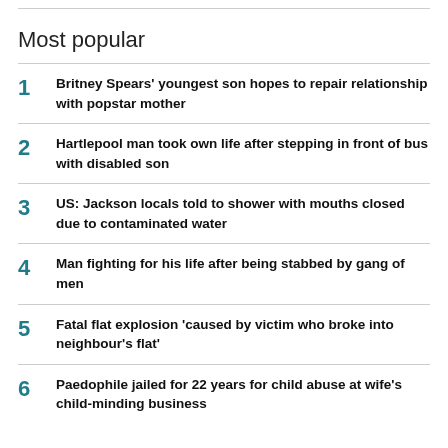Most popular
1 Britney Spears' youngest son hopes to repair relationship with popstar mother
2 Hartlepool man took own life after stepping in front of bus with disabled son
3 US: Jackson locals told to shower with mouths closed due to contaminated water
4 Man fighting for his life after being stabbed by gang of men
5 Fatal flat explosion 'caused by victim who broke into neighbour's flat'
6 Paedophile jailed for 22 years for child abuse at wife's child-minding business